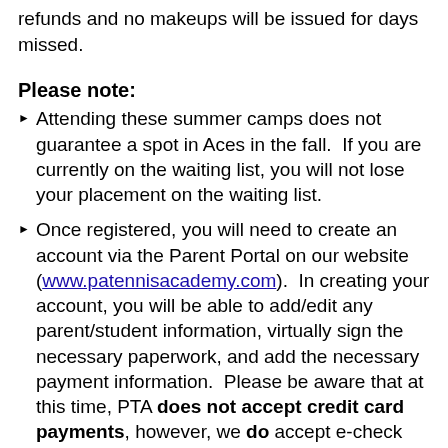refunds and no makeups will be issued for days missed.
Please note:
Attending these summer camps does not guarantee a spot in Aces in the fall.  If you are currently on the waiting list, you will not lose your placement on the waiting list.
Once registered, you will need to create an account via the Parent Portal on our website (www.patennisacademy.com).  In creating your account, you will be able to add/edit any parent/student information, virtually sign the necessary paperwork, and add the necessary payment information.  Please be aware that at this time, PTA does not accept credit card payments, however, we do accept e-check and automatic debit payments.  Do not worry